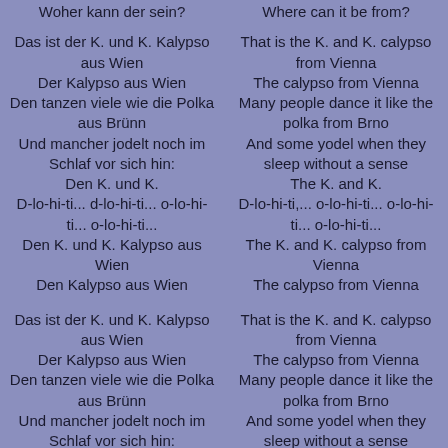Woher kann der sein? | Where can it be from?
Das ist der K. und K. Kalypso aus Wien
Der Kalypso aus Wien
Den tanzen viele wie die Polka aus Brünn
Und mancher jodelt noch im Schlaf vor sich hin:
Den K. und K.
D-lo-hi-ti... d-lo-hi-ti... o-lo-hi-ti... o-lo-hi-ti...
Den K. und K. Kalypso aus Wien
Den Kalypso aus Wien
That is the K. and K. calypso from Vienna
The calypso from Vienna
Many people dance it like the polka from Brno
And some yodel when they sleep without a sense
The K. and K.
D-lo-hi-ti,... o-lo-hi-ti... o-lo-hi-ti... o-lo-hi-ti...
The K. and K. calypso from Vienna
The calypso from Vienna
Das ist der K. und K. Kalypso aus Wien
Der Kalypso aus Wien
Den tanzen viele wie die Polka aus Brünn
Und mancher jodelt noch im Schlaf vor sich hin:
Den K. und K.
D-lo-hi-ti... o-lo-hi-ti... o-lo-hi-ti... o-lo-hi-ti...
Den K. und K. Kalypso aus
That is the K. and K. calypso from Vienna
The calypso from Vienna
Many people dance it like the polka from Brno
And some yodel when they sleep without a sense
The K. and K.
D-lo-hi-ti,... o-lo-hi-ti... o-lo-hi-ti... o-lo-hi-ti...
The K. and K. calypso from